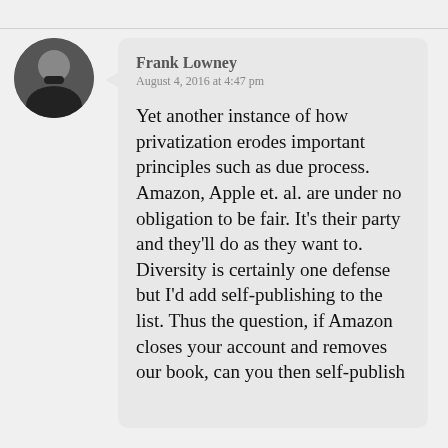Frank Lowney
August 4, 2016 at 4:47 pm
Yet another instance of how privatization erodes important principles such as due process. Amazon, Apple et. al. are under no obligation to be fair. It’s their party and they’ll do as they want to. Diversity is certainly one defense but I’d add self-publishing to the list. Thus the question, if Amazon closes your account and removes our book, can you then self-publish